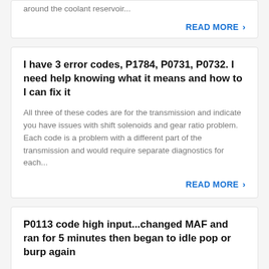around the coolant reservoir...
READ MORE ›
I have 3 error codes, P1784, P0731, P0732. I need help knowing what it means and how to I can fix it
All three of these codes are for the transmission and indicate you have issues with shift solenoids and gear ratio problem. Each code is a problem with a different part of the transmission and would require separate diagnostics for each...
READ MORE ›
P0113 code high input...changed MAF and ran for 5 minutes then began to idle pop or burp again
The code P0113